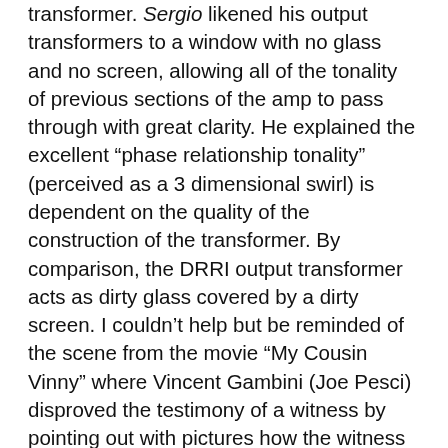transformer. Sergio likened his output transformers to a window with no glass and no screen, allowing all of the tonality of previous sections of the amp to pass through with great clarity. He explained the excellent “phase relationship tonality” (perceived as a 3 dimensional swirl) is dependent on the quality of the construction of the transformer. By comparison, the DRRI output transformer acts as dirty glass covered by a dirty screen. I couldn’t help but be reminded of the scene from the movie “My Cousin Vinny” where Vincent Gambini (Joe Pesci) disproved the testimony of a witness by pointing out with pictures how the witness was looking through dirty glass, a bug covered screen, and through trees and bushes at a fleeing car.
As a tube amp enthusiast, I’ve been reading and learning about tube amp electronics for quite some time. In this conversation with Sergio I learned a lot